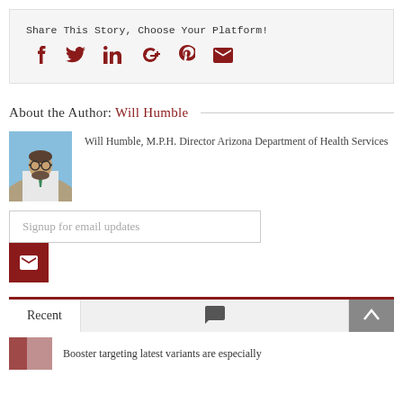Share This Story, Choose Your Platform!
[Figure (infographic): Social sharing icons: Facebook, Twitter, LinkedIn, Google+, Pinterest, Email — all in dark red]
About the Author: Will Humble
[Figure (photo): Photo of Will Humble, a middle-aged man with glasses and a beard, wearing a white coat and green tie, outdoors with blue sky background]
Will Humble, M.P.H. Director Arizona Department of Health Services
Signup for email updates
Recent
Booster targeting latest variants are especially